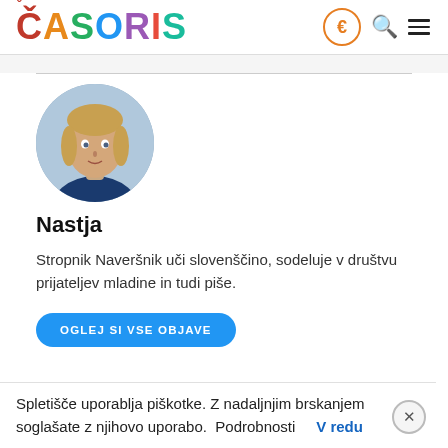ČASORIS
[Figure (photo): Circular profile photo of Nastja, a woman with blonde hair wearing a dark blue t-shirt]
Nastja
Stropnik Naveršnik uči slovenščino, sodeluje v društvu prijateljev mladine in tudi piše.
OGLEJ SI VSE OBJAVE
Spletišče uporablja piškotke. Z nadaljnjim brskanjem soglašate z njihovo uporabo.  Podrobnosti    V redu